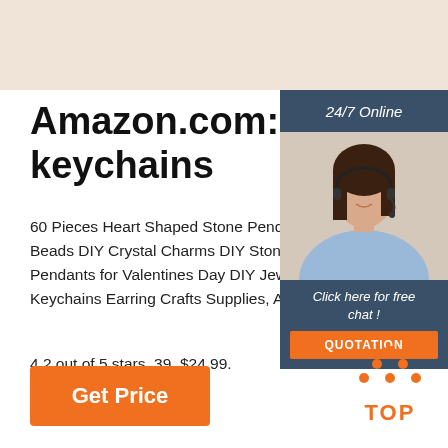[Figure (photo): Top banner with light beige/salmon background]
Amazon.com: heart keychains
60 Pieces Heart Shaped Stone Pendants Beads DIY Crystal Charms DIY Stone Heart Pendants for Valentines Day DIY Jewelry Keychains Earring Crafts Supplies, Asso
4.2 out of 5 stars. 39. $24.99.
[Figure (infographic): 24/7 Online banner with agent photo and chat panel showing 'Click here for free chat!' and QUOTATION button]
[Figure (infographic): TOP icon with orange dots arranged in triangle and TOP text in orange]
Get Price